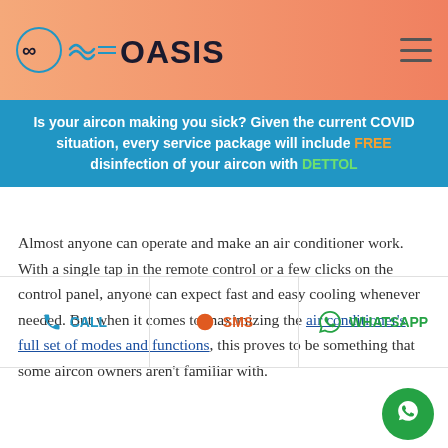[Figure (logo): OASIS logo with air/wind icon]
Is your aircon making you sick? Given the current COVID situation, every service package will include FREE disinfection of your aircon with DETTOL
Almost anyone can operate and make an air conditioner work. With a single tap in the remote control or a few clicks on the control panel, anyone can expect fast and easy cooling whenever needed. But when it comes to maximizing the air conditioner's full set of modes and functions, this proves to be something that some aircon owners aren't familiar with.
CALL | SMS | WHATSAPP